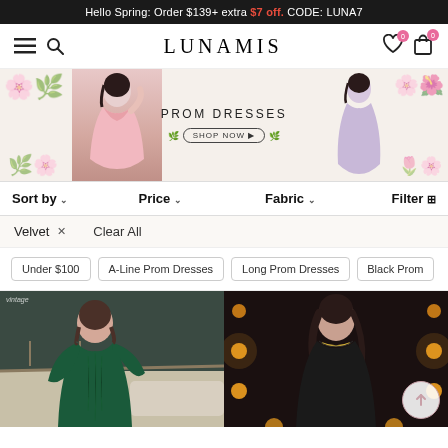Hello Spring: Order $139+ extra $7 off. CODE: LUNA7
[Figure (logo): LUNAMIS logo with hamburger menu, search icon, wishlist and cart icons]
[Figure (photo): Prom Dresses banner with woman in pink dress, text PROM DRESSES, SHOP NOW button, floral decorations, and woman in lavender dress]
Sort by  Price  Fabric  Filter
Velvet x  Clear All
Under $100
A-Line Prom Dresses
Long Prom Dresses
Black Prom
[Figure (photo): Woman in dark green velvet off-shoulder mini dress on yacht deck]
[Figure (photo): Woman in black velvet dress with necklace in front of illuminated marquee lights]